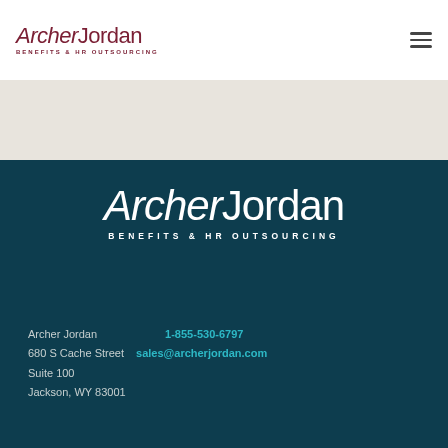[Figure (logo): Archer Jordan Benefits & HR Outsourcing logo in dark red/maroon, top left of white header bar]
[Figure (logo): Hamburger menu icon (three horizontal lines) top right of white header]
[Figure (logo): Archer Jordan Benefits & HR Outsourcing logo in white on dark teal background, centered]
Archer Jordan
680 S Cache Street
Suite 100
Jackson, WY 83001
1-855-530-6797
sales@archerjordan.com